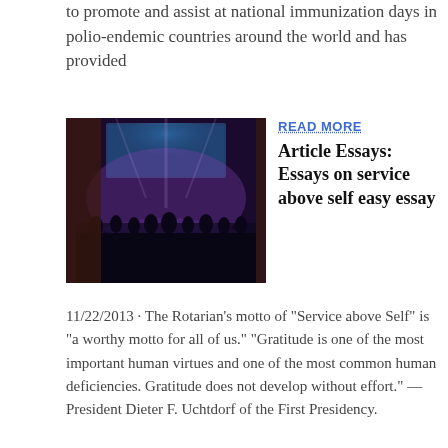to promote and assist at national immunization days in polio-endemic countries around the world and has provided
[Figure (photo): A group of people on a stage with purple lighting and a large screen in the background at what appears to be a conference or event.]
READ MORE
Article Essays: Essays on service above self easy essay
11/22/2013 · The Rotarian's motto of "Service above Self" is "a worthy motto for all of us." "Gratitude is one of the most important human virtues and one of the most common human deficiencies. Gratitude does not develop without effort." — President Dieter F. Uchtdorf of the First Presidency.
[Figure (screenshot): A thumbnail image showing a handwritten-style heading 'Service Above Self is' followed by bullet points about taking unpaid days from work to help at Rotary club events, giving income on a product line to the Rotary Foundation, spending lunchtime calling potential event sponsors, attending a Rotary sporting event even if you aren't into it, taking your family to a Rotary conference for your birthday, going to a Rotary International convention for vacation, working a fundraiser instead of going to the beach, meeting your deadlines so others can meet their deadlines.]
READ MORE
essay on service above self – customwritingsservice